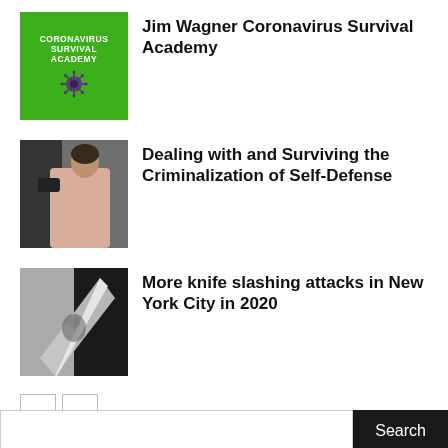[Figure (illustration): Green book cover for Coronavirus Survival Academy with virus icon]
Jim Wagner Coronavirus Survival Academy
[Figure (photo): Photo of a person in pink jacket being grabbed from behind by another person in black]
Dealing with and Surviving the Criminalization of Self-Defense
[Figure (photo): Photo showing a knife with reflective surface and a person's reflection]
More knife slashing attacks in New York City in 2020